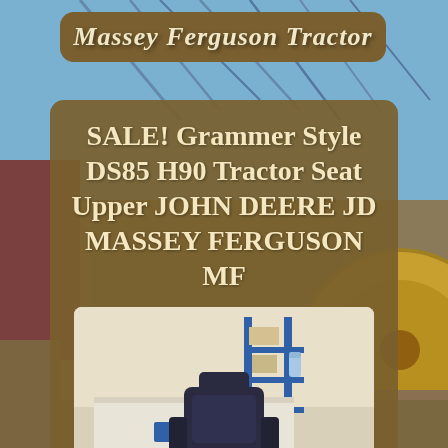Massey Ferguson Tractor
SALE! Grammer Style DS85 H90 Tractor Seat Upper JOHN DEERE JD MASSEY FERGUSON MF
[Figure (photo): Photo of a dark blue/black tractor seat (KAB/S brand) displayed in a warehouse or showroom setting with shelving and equipment visible in the background.]